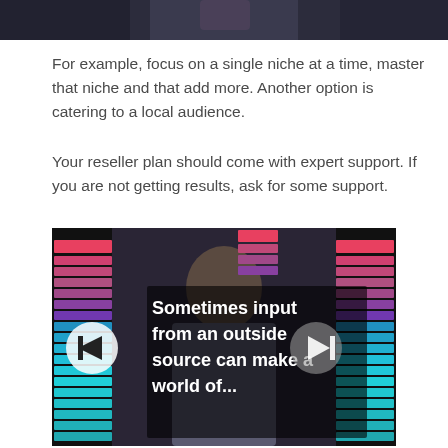[Figure (photo): Top portion of a person photo, cropped – dark background]
For example, focus on a single niche at a time, master that niche and that add more. Another option is catering to a local audience.
Your reseller plan should come with expert support. If you are not getting results, ask for some support.
[Figure (screenshot): Video thumbnail showing a man in a suit with colorful equalizer bars on left and right, and overlaid text: 'Sometimes input from an outside source can make a world of...' with media control buttons]